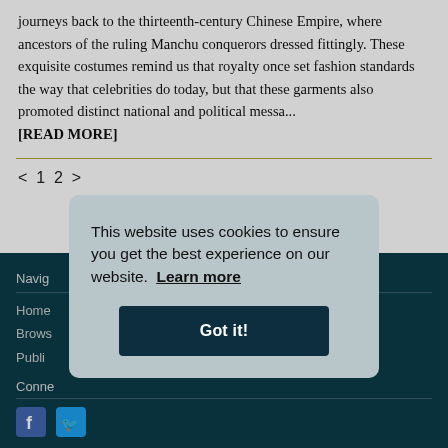journeys back to the thirteenth-century Chinese Empire, where ancestors of the ruling Manchu conquerors dressed fittingly. These exquisite costumes remind us that royalty once set fashion standards the way that celebrities do today, but that these garments also promoted distinct national and political messa... [READ MORE]
< 1 2 >
Navig
Home
Brows
Publi
Conne
This website uses cookies to ensure you get the best experience on our website. Learn more
Got it!